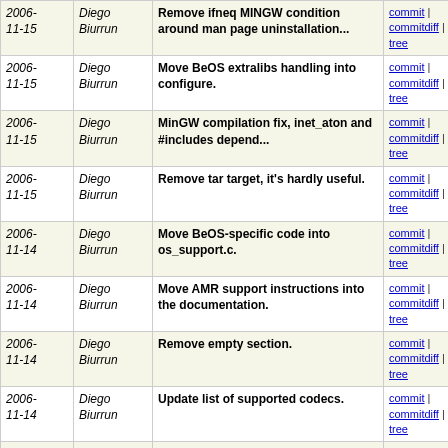| Date | Author | Message | Links |
| --- | --- | --- | --- |
| 2006-11-15 | Diego Biurrun | Remove ifneq MINGW condition around man page uninstallation... | commit | commitdiff | tree |
| 2006-11-15 | Diego Biurrun | Move BeOS extralibs handling into configure. | commit | commitdiff | tree |
| 2006-11-15 | Diego Biurrun | MinGW compilation fix, inet_aton and #includes depend... | commit | commitdiff | tree |
| 2006-11-15 | Diego Biurrun | Remove tar target, it's hardly useful. | commit | commitdiff | tree |
| 2006-11-14 | Diego Biurrun | Move BeOS-specific code into os_support.c. | commit | commitdiff | tree |
| 2006-11-14 | Diego Biurrun | Move AMR support instructions into the documentation. | commit | commitdiff | tree |
| 2006-11-14 | Diego Biurrun | Remove empty section. | commit | commitdiff | tree |
| 2006-11-14 | Diego Biurrun | Update list of supported codecs. | commit | commitdiff | tree |
| 2006-11-14 | Diego Biurrun | Make man page installation dependent on documentation... | commit | commitdiff | tree |
| 2006-11-14 | Diego Biurrun | Remove some unused variables. | commit | commitdiff | tree |
| 2006-11-14 | Diego Biurrun | Remove wrong/misleading comment. | commit | commitdiff | tree |
| 2006-11-14 | Diego Biurrun | Remove redundant #ifdef HAVE_THREAD, the file is only... | commit | commitdiff | tree |
| 2006-11-14 | Diego Biurrun | Remove ifneq MINGW condition around man page installation... | commit | commitdiff | tree |